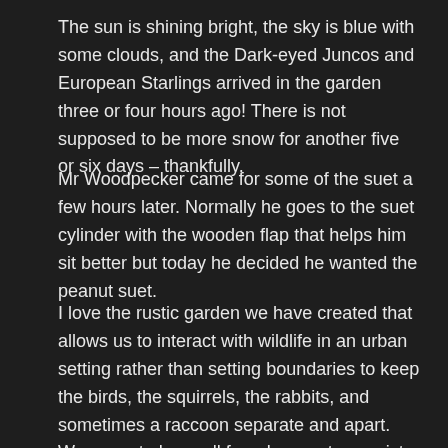The sun is shining bright, the sky is blue with some clouds, and the Dark-eyed Juncos and European Starlings arrived in the garden three or four hours ago! There is not supposed to be more snow for another five or six days – thankfully.
Mr Woodpecker came for some of the suet a few hours later. Normally he goes to the suet cylinder with the wooden flap that helps him sit better but today he decided he wanted the peanut suet.
I love the rustic garden we have created that allows us to interact with wildlife in an urban setting rather than setting boundaries to keep the birds, the squirrels, the rabbits, and sometimes a raccoon separate and apart. We seem to have all found a way to coexist which certainly brings a lot of joy.